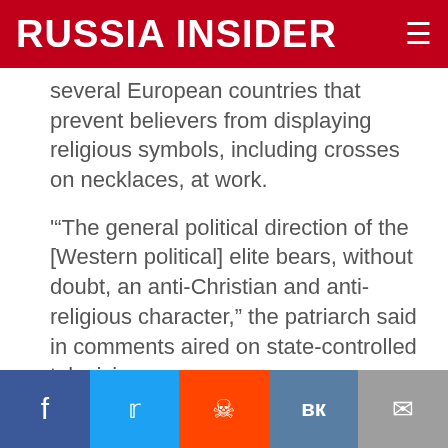RUSSIA INSIDER
several European countries that prevent believers from displaying religious symbols, including crosses on necklaces, at work.
'"The general political direction of the [Western political] elite bears, without doubt, an anti-Christian and anti-religious character," the patriarch said in comments aired on state-controlled television.
'"We have been through an epoch of atheism, and we know what it is to live without God," Patriarch Kirill said. "We want to shout to the whole world,
Facebook | Twitter | Reddit | VK | Email